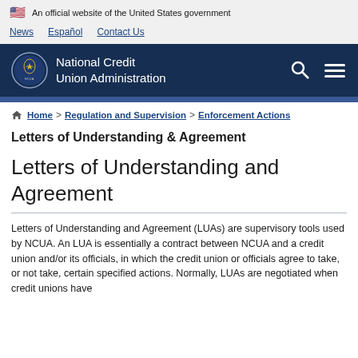🇺🇸 An official website of the United States government
News  Español  Contact Us
National Credit Union Administration
Home > Regulation and Supervision > Enforcement Actions
Letters of Understanding & Agreement
Letters of Understanding and Agreement
Letters of Understanding and Agreement (LUAs) are supervisory tools used by NCUA. An LUA is essentially a contract between NCUA and a credit union and/or its officials, in which the credit union or officials agree to take, or not take, certain specified actions. Normally, LUAs are negotiated when credit unions have